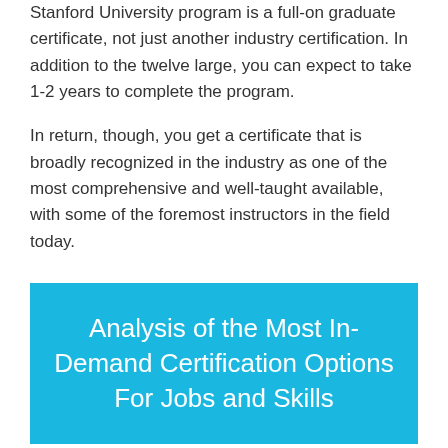Stanford University program is a full-on graduate certificate, not just another industry certification. In addition to the twelve large, you can expect to take 1-2 years to complete the program.
In return, though, you get a certificate that is broadly recognized in the industry as one of the most comprehensive and well-taught available, with some of the foremost instructors in the field today.
Analysis of the Most In-Demand Certification Options For Jobs and Skills
There are different ways to look at how popular